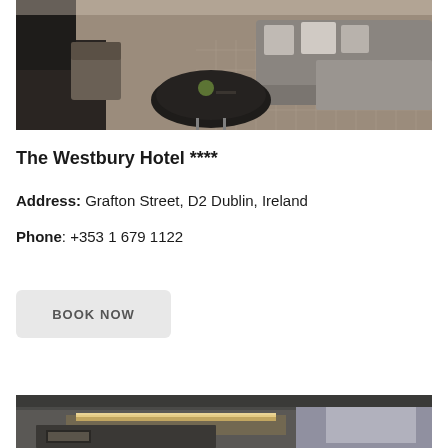[Figure (photo): Hotel room interior with grey sofa, round black coffee table, patterned carpet, and decorative items]
The Westbury Hotel ****
Address: Grafton Street, D2 Dublin, Ireland
Phone:  +353 1 679 1122
[Figure (other): BOOK NOW button]
[Figure (photo): Hotel room interior showing headboard with ambient lighting]